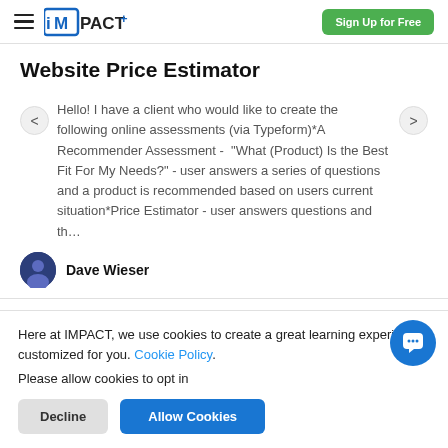iMPACT+ | Sign Up for Free
Website Price Estimator
Hello! I have a client who would like to create the following online assessments (via Typeform)*A Recommender Assessment - "What (Product) Is the Best Fit For My Needs?" - user answers a series of questions and a product is recommended based on users current situation*Price Estimator - user answers questions and th…
Dave Wieser
Here at IMPACT, we use cookies to create a great learning experience customized for you. Cookie Policy.
Please allow cookies to opt in
Decline
Allow Cookies